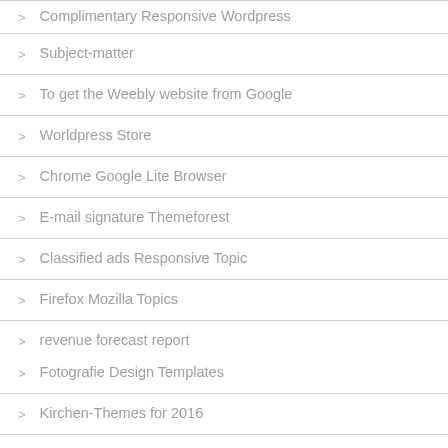Complimentary Responsive Wordpress
Subject-matter
To get the Weebly website from Google
Worldpress Store
Chrome Google Lite Browser
E-mail signature Themeforest
Classified ads Responsive Topic
Firefox Mozilla Topics
revenue forecast report
Fotografie Design Templates
Kirchen-Themes for 2016
Template for the Social Media Portfolio
The best online website maker
Subscription to Themeforest
Fantastic free Wordpress themes
On-line Topics